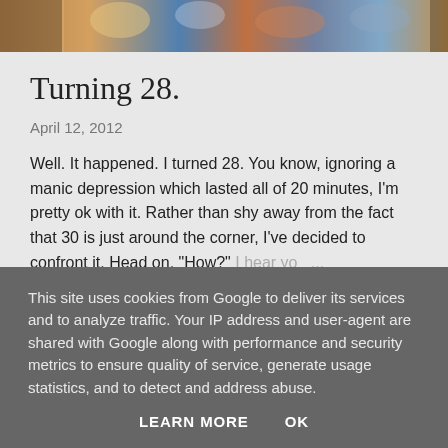[Figure (photo): Partial view of a colorful painting or mural at the top of the page, showing figures with warm orange, blue and earth tones]
Turning 28.
April 12, 2012
Well. It happened. I turned 28. You know, ignoring a manic depression which lasted all of 20 minutes, I'm pretty ok with it. Rather than shy away from the fact that 30 is just around the corner, I've decided to confront it. Head on. "How?" I hear yo ...
SHARE   7 COMMENTS   READ MORE
This site uses cookies from Google to deliver its services and to analyze traffic. Your IP address and user-agent are shared with Google along with performance and security metrics to ensure quality of service, generate usage statistics, and to detect and address abuse.
LEARN MORE   OK